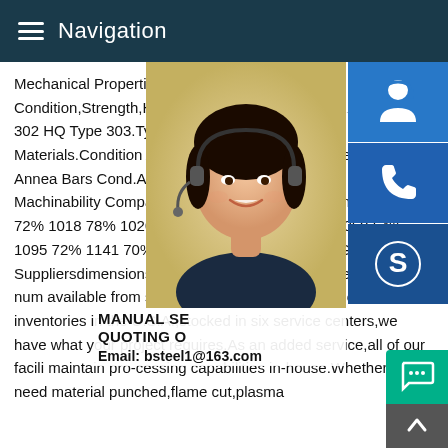Navigation
Mechanical Properties of Steel - Condition,Strength,Hardness,Machinability Steels.AISI.Type 302 HQ Type 303.Type 3 Type 416.Type 17-4 Materials.Condition A Bars Annealed Bars.Annealed Bars Annea Bars Cond.A.Cond.H 900 Cond.H 1025.Te Machinability Comparison Chart - provides Carbon steels 1015 72% 1018 78% 1020 70% 1040 64% 1042 64% 1050 54% 1095 72% 1141 70% 1141 annealed 81% META GUIDE - Steel Suppliersdimensions of carbon steel,stainless steel and alumi-num available from stock.With one of the largest non-mill inventories in the U.S.A.,stocked in six service centers,we have what your project requires.As an added service,all of our facili maintain pro-cessing capabilities in-house.Whether you need material punched,flame cut,plasma
[Figure (photo): Woman with headset, customer service representative photo]
[Figure (infographic): Three blue sidebar icon buttons: headset/customer service, phone, and Skype icons]
MANUAL SE QUOTING O Email: bsteel1@163.com